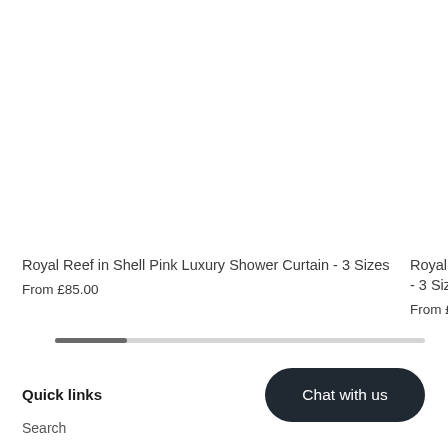Royal Reef in Shell Pink Luxury Shower Curtain - 3 Sizes
From £85.00
Royal Reef i - 3 Sizes
From £85.00
Chat with us
Quick links
Search